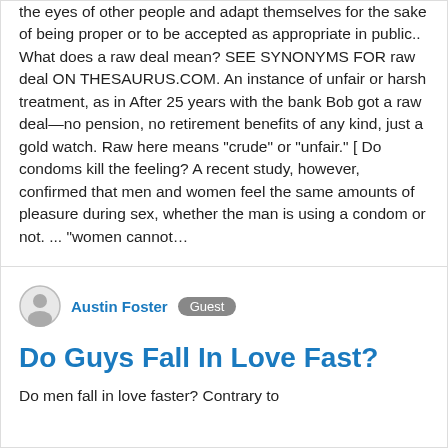the eyes of other people and adapt themselves for the sake of being proper or to be accepted as appropriate in public.. What does a raw deal mean? SEE SYNONYMS FOR raw deal ON THESAURUS.COM. An instance of unfair or harsh treatment, as in After 25 years with the bank Bob got a raw deal—no pension, no retirement benefits of any kind, just a gold watch. Raw here means "crude" or "unfair." [ Do condoms kill the feeling? A recent study, however, confirmed that men and women feel the same amounts of pleasure during sex, whether the man is using a condom or not. ... "women cannot…
Austin Foster  Guest
Do Guys Fall In Love Fast?
Do men fall in love faster? Contrary to